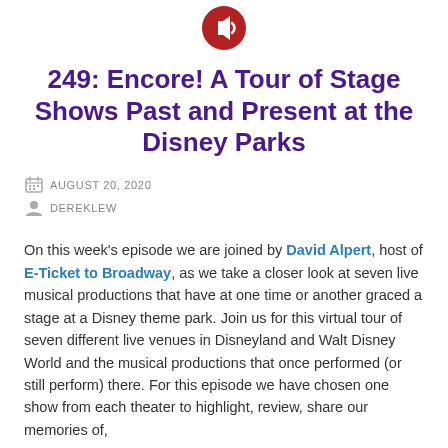[Figure (illustration): Red circular speaker/audio icon with white speaker symbol]
249: Encore! A Tour of Stage Shows Past and Present at the Disney Parks
AUGUST 20, 2020
DEREKLEW
On this week’s episode we are joined by David Alpert, host of E-Ticket to Broadway, as we take a closer look at seven live musical productions that have at one time or another graced a stage at a Disney theme park. Join us for this virtual tour of seven different live venues in Disneyland and Walt Disney World and the musical productions that once performed (or still perform) there. For this episode we have chosen one show from each theater to highlight, review, share our memories of,